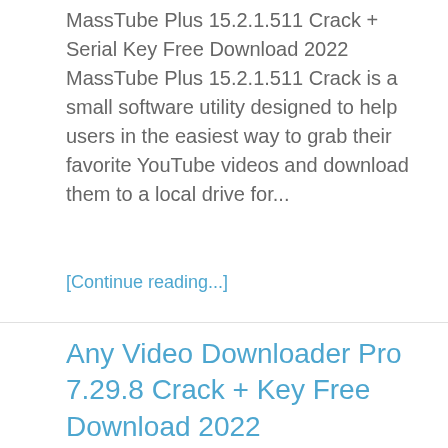MassTube Plus 15.2.1.511 Crack + Serial Key Free Download 2022 MassTube Plus 15.2.1.511 Crack is a small software utility designed to help users in the easiest way to grab their favorite YouTube videos and download them to a local drive for...
[Continue reading...]
Any Video Downloader Pro 7.29.8 Crack + Key Free Download 2022
By procrxsw_m   May 14, 2022   Downloader, Software   0 Comments
[Figure (logo): Blue horseshoe/arch shaped logo on white background, bottom portion of image cropped]